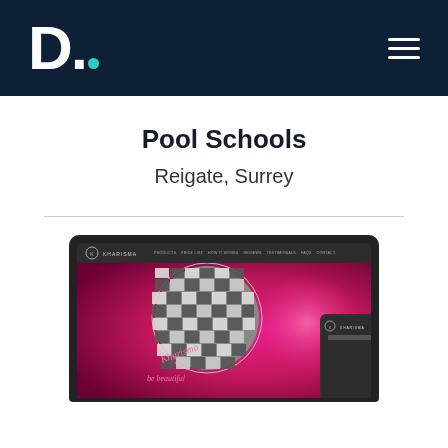D. [logo with teal dot]
Pool Schools
Reigate, Surrey
[Figure (screenshot): Screenshot of a website called Kharisma displayed on a laptop mockup, showing a disco ball image on a pink/magenta background. A mobile phone mockup with the same Kharisma website is overlaid at the bottom right of the laptop screen.]